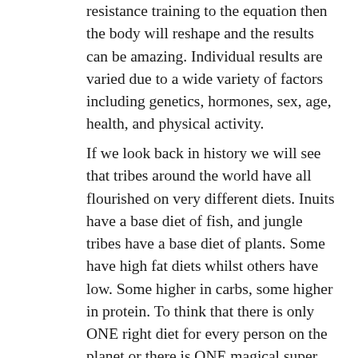resistance training to the equation then the body will reshape and the results can be amazing. Individual results are varied due to a wide variety of factors including genetics, hormones, sex, age, health, and physical activity.
If we look back in history we will see that tribes around the world have all flourished on very different diets. Inuits have a base diet of fish, and jungle tribes have a base diet of plants. Some have high fat diets whilst others have low. Some higher in carbs, some higher in protein. To think that there is only ONE right diet for every person on the planet or there is ONE magical super food that will cure all our health problems is just ludicrous! The one thing they all have in common is their diets are “natural” and free of processing and high concentrated sugars. I am a nutritional “atheist” and I believe that the diet best for YOU is the diet that WORKS for you. We have to be our own guinea pigs